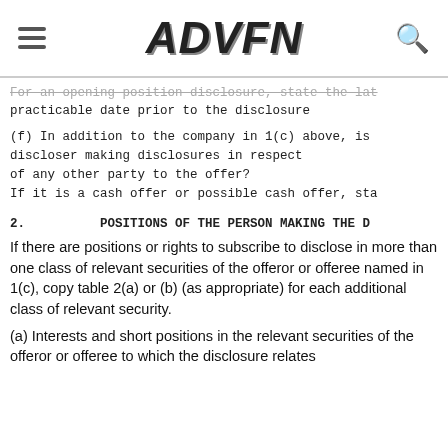ADVFN
For an opening position disclosure, state the latest practicable date prior to the disclosure
(f) In addition to the company in 1(c) above, is the discloser making disclosures in respect of any other party to the offer? If it is a cash offer or possible cash offer, sta...
2.          POSITIONS OF THE PERSON MAKING THE D...
If there are positions or rights to subscribe to disclose in more than one class of relevant securities of the offeror or offeree named in 1(c), copy table 2(a) or (b) (as appropriate) for each additional class of relevant security.
(a) Interests and short positions in the relevant securities of the offeror or offeree to which the disclosure relates following the dealing (if any):